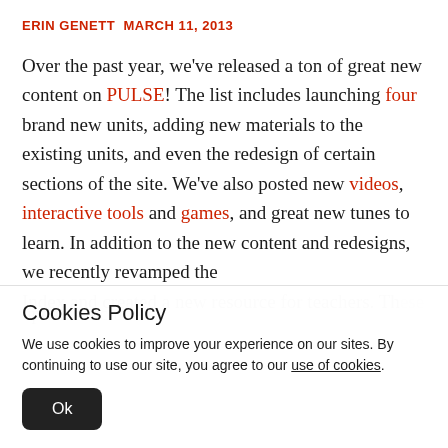ERIN GENETT  MARCH 11, 2013
Over the past year, we've released a ton of great new content on PULSE! The list includes launching four brand new units, adding new materials to the existing units, and even the redesign of certain sections of the site. We've also posted new videos, interactive tools and games, and great new tunes to learn. In addition to the new content and redesigns, we recently revamped the Index and created a new resource for teachers. These
Cookies Policy
We use cookies to improve your experience on our sites. By continuing to use our site, you agree to our use of cookies.
Ok